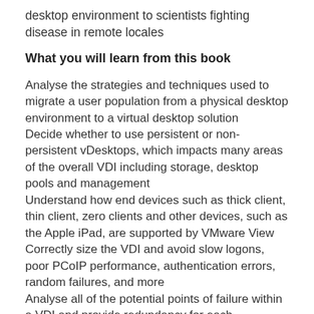desktop environment to scientists fighting disease in remote locales
What you will learn from this book
Analyse the strategies and techniques used to migrate a user population from a physical desktop environment to a virtual desktop solution
Decide whether to use persistent or non-persistent vDesktops, which impacts many areas of the overall VDI including storage, desktop pools and management
Understand how end devices such as thick client, thin client, zero clients and other devices, such as the Apple iPad, are supported by VMware View
Correctly size the VDI and avoid slow logons, poor PCoIP performance, authentication errors, random failures, and more
Analyse all of the potential points of failure within a VDI and provide redundancy for each component
Effectively plan the storage design for your VDI